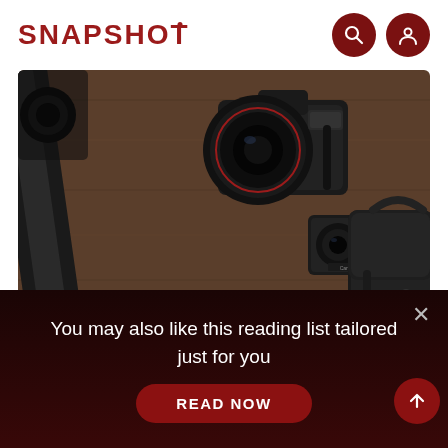SNAPSHOT
[Figure (photo): Flat-lay photograph of camera equipment on a wooden surface: DSLR camera with lens, smaller compact camera, tripod legs, and a black leather camera bag]
Photographing the Moon, especially on yo
You may also like this reading list tailored just for you
READ NOW